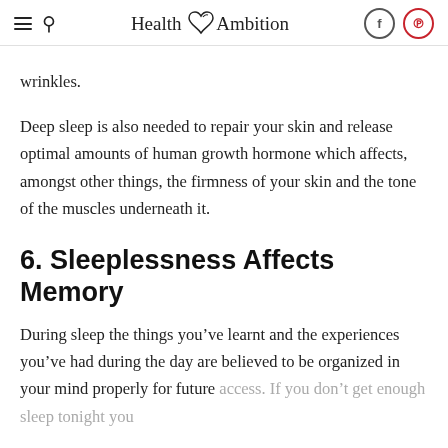Health Ambition
wrinkles.
Deep sleep is also needed to repair your skin and release optimal amounts of human growth hormone which affects, amongst other things, the firmness of your skin and the tone of the muscles underneath it.
6. Sleeplessness Affects Memory
During sleep the things you’ve learnt and the experiences you’ve had during the day are believed to be organized in your mind properly for future access. If you don’t get enough sleep tonight you